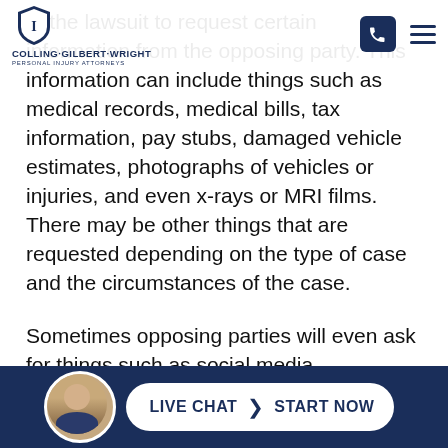Colling Gilbert Wright — Personal Injury Attorneys (header with logo, phone icon, hamburger menu)
of the lawsuit to request certain information from the opposing party. This information can include things such as medical records, medical bills, tax information, pay stubs, damaged vehicle estimates, photographs of vehicles or injuries, and even x-rays or MRI films. There may be other things that are requested depending on the type of case and the circumstances of the case.
Sometimes opposing parties will even ask for things such as social media information or records and this has often upset some of our clients. Unfortunately the scope of discovery or the scope of requests for production is very broad so we have
LIVE CHAT › START NOW